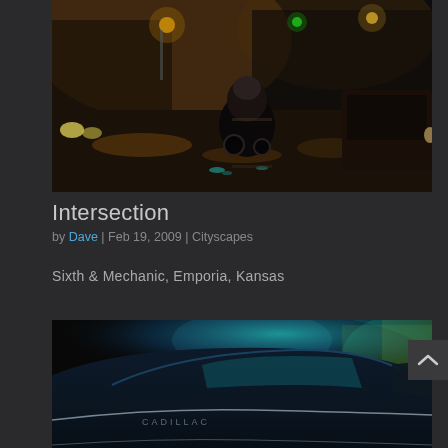[Figure (photo): Night street scene at an intersection, motorcyclist in center with vehicle on right, warm amber streetlights, reflections on wet road]
Intersection
by Dave | Feb 19, 2009 | Cityscapes
Sixth & Mechanic, Emporia, Kansas
[Figure (photo): Close-up side view of a vintage classic car (appears to be a Cadillac), dark paint with chrome accents, colorful neon/graffiti reflections on hood, nighttime parking lot]